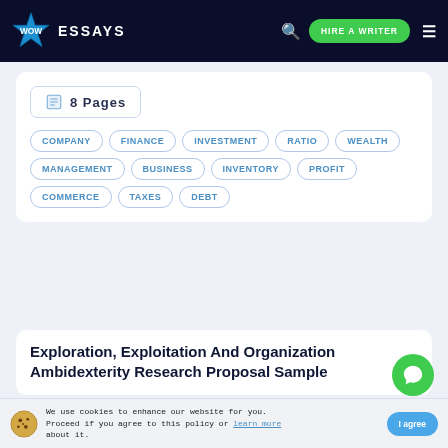WOW ESSAYS — HIRE A WRITER
8 Pages
COMPANY
FINANCE
INVESTMENT
RATIO
WEALTH
MANAGEMENT
BUSINESS
INVENTORY
PROFIT
COMMERCE
TAXES
DEBT
Exploration, Exploitation And Organization Ambidexterity Research Proposal Sample
We use cookies to enhance our website for you. Proceed if you agree to this policy or learn more about it.